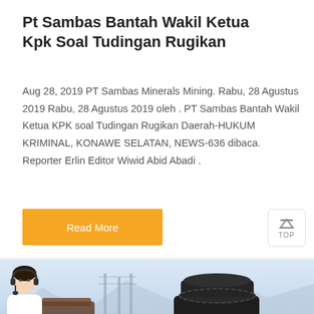Pt Sambas Bantah Wakil Ketua Kpk Soal Tudingan Rugikan
Aug 28, 2019 PT Sambas Minerals Mining. Rabu, 28 Agustus 2019 Rabu, 28 Agustus 2019 oleh . PT Sambas Bantah Wakil Ketua KPK soal Tudingan Rugikan Daerah-HUKUM KRIMINAL, KONAWE SELATAN, NEWS-636 dibaca. Reporter Erlin Editor Wiwid Abid Abadi .
[Figure (photo): Industrial mining machinery (cone crusher or similar) on a flatbed in an outdoor setting with mountains and power lines in the background. A chat bar with 'Message' and 'Online Chat' buttons with a customer service avatar overlays the bottom.]